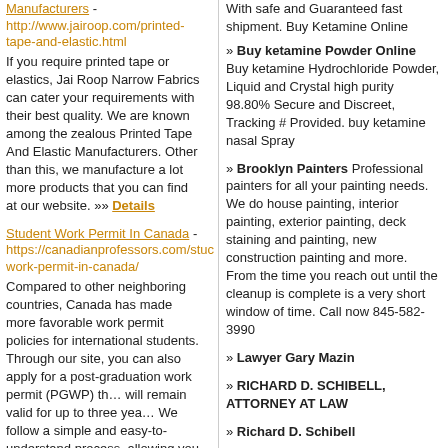Manufacturers - http://www.jairoop.com/printed-tape-and-elastic.html If you require printed tape or elastics, Jai Roop Narrow Fabrics can cater your requirements with their best quality. We are known among the zealous Printed Tape And Elastic Manufacturers. Other than this, we manufacture a lot more products that you can find at our website. »» Details
Student Work Permit In Canada - https://canadianprofessors.com/stuc work-permit-in-canada/ Compared to other neighboring countries, Canada has made more favorable work permit policies for international students. Through our site, you can also apply for a post-graduation work permit (PGWP) that will remain valid for up to three years. We follow a simple and easy-to-understand process, allowing you to submit all your documents online. »» Details
Resorts in Sariska - https://www.treesntigers.com
With safe and Guaranteed fast shipment. Buy Ketamine Online
» Buy ketamine Powder Online Buy ketamine Hydrochloride Powder, Liquid and Crystal high purity 98.80% Secure and Discreet, Tracking # Provided. buy ketamine nasal Spray
» Brooklyn Painters Professional painters for all your painting needs. We do house painting, interior painting, exterior painting, deck staining and painting, new construction painting and more. From the time you reach out until the cleanup is complete is a very short window of time. Call now 845-582-3990
» Lawyer Gary Mazin
» RICHARD D. SCHIBELL, ATTORNEY AT LAW
» Richard D. Schibell
»Your Link Here for $0.80
»Your Link Here for $0.80